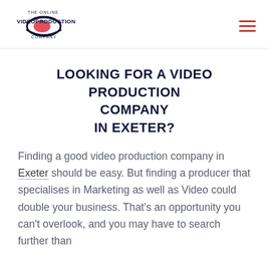[Figure (logo): The Online Video Production Company logo with stylized eye/lens graphic in navy and red]
LOOKING FOR A VIDEO PRODUCTION COMPANY IN EXETER?
Finding a good video production company in Exeter should be easy. But finding a producer that specialises in Marketing as well as Video could double your business. That's an opportunity you can't overlook, and you may have to search further than